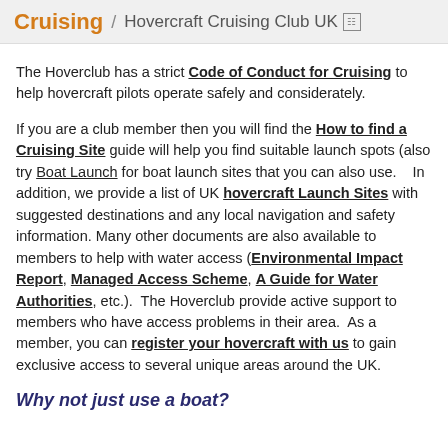Cruising / Hovercraft Cruising Club UK
The Hoverclub has a strict Code of Conduct for Cruising to help hovercraft pilots operate safely and considerately.
If you are a club member then you will find the How to find a Cruising Site guide will help you find suitable launch spots (also try Boat Launch for boat launch sites that you can also use.    In addition, we provide a list of UK hovercraft Launch Sites with suggested destinations and any local navigation and safety information. Many other documents are also available to members to help with water access (Environmental Impact Report, Managed Access Scheme, A Guide for Water Authorities, etc.).  The Hoverclub provide active support to members who have access problems in their area.  As a member, you can register your hovercraft with us to gain exclusive access to several unique areas around the UK.
Why not just use a boat?